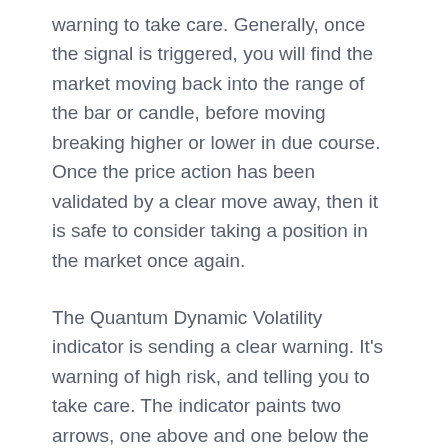warning to take care. Generally, once the signal is triggered, you will find the market moving back into the range of the bar or candle, before moving breaking higher or lower in due course. Once the price action has been validated by a clear move away, then it is safe to consider taking a position in the market once again.
The Quantum Dynamic Volatility indicator is sending a clear warning. It's warning of high risk, and telling you to take care. The indicator paints two arrows, one above and one below the candle or bar.
The Quantum Dynamic Volatility indicator works in all timeframes.
Applying the indicator...